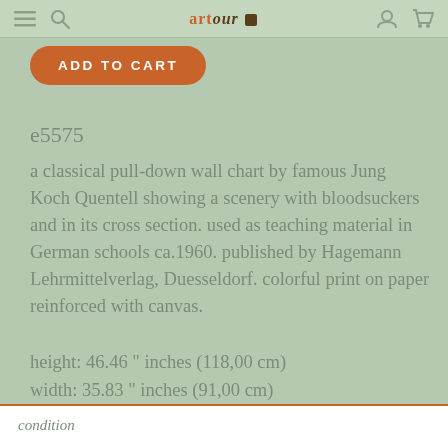artour
ADD TO CART
e5575
a classical pull-down wall chart by famous Jung Koch Quentell showing a scenery with bloodsuckers and in its cross section. used as teaching material in German schools ca.1960. published by Hagemann Lehrmittelverlag, Duesseldorf. colorful print on paper reinforced with canvas.
height: 46.46 " inches (118,00 cm)
width: 35.83 " inches (91,00 cm)
condition